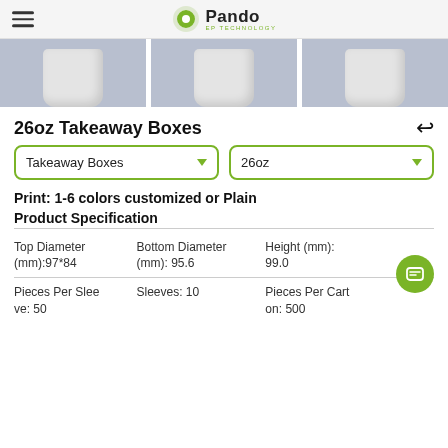Pando EP TECHNOLOGY
[Figure (photo): Three product images showing white takeaway cups/boxes against a blue-grey background]
26oz Takeaway Boxes
Takeaway Boxes [dropdown] | 26oz [dropdown]
Print: 1-6 colors customized or Plain
Product Specification
| Top Diameter (mm):97*84 | Bottom Diameter (mm): 95.6 | Height (mm): 99.0 |
| --- | --- | --- |
| Pieces Per Sleeve: 50 | Sleeves: 10 | Pieces Per Carton: 500 |